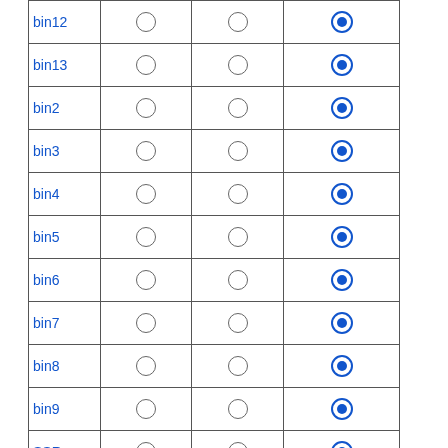|  |  |  |  |
| --- | --- | --- | --- |
| bin12 | ○ | ○ | ● |
| bin13 | ○ | ○ | ● |
| bin2 | ○ | ○ | ● |
| bin3 | ○ | ○ | ● |
| bin4 | ○ | ○ | ● |
| bin5 | ○ | ○ | ● |
| bin6 | ○ | ○ | ● |
| bin7 | ○ | ○ | ● |
| bin8 | ○ | ○ | ● |
| bin9 | ○ | ○ | ● |
| SSR | ○ | ○ | ● |
| Other | ○ | ○ | ○ |
|  | Check All | Check All | Check All |
Show Labels: ○ None ○ Landmarks ● All
Collapse Overlapping Features: ○ No ● Yes
Redraw   Reset   (Hide Feature Menu)
⊞ Correspondence Options
⊟ Correspondence Options  Redraw  Reset
Include Correspondence Types:
| Evidence | Ignore | Use | Less Than | Greater Than | Score |
| --- | --- | --- | --- | --- | --- |